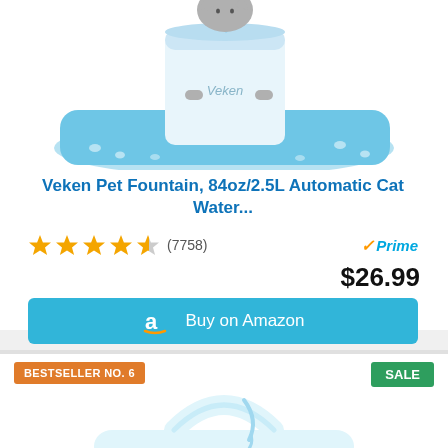[Figure (photo): White cylindrical Veken pet water fountain on a blue silicone mat with paw prints, with a grey cat standing on the mat]
Veken Pet Fountain, 84oz/2.5L Automatic Cat Water...
★★★★½ (7758) Prime $26.99
Buy on Amazon
BESTSELLER NO. 6
SALE
[Figure (photo): White cat water fountain with arch handle and flowing water spout into bowl]